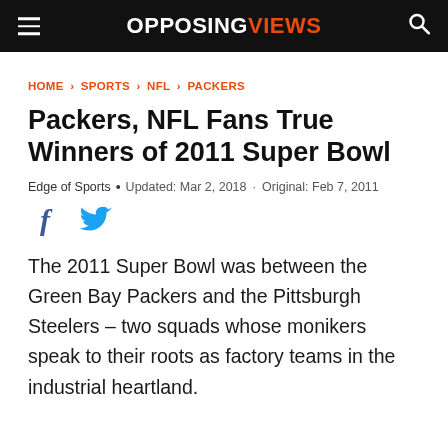OPPOSING VIEWS
HOME › SPORTS › NFL › PACKERS
Packers, NFL Fans True Winners of 2011 Super Bowl
Edge of Sports • Updated: Mar 2, 2018 · Original: Feb 7, 2011
[Figure (other): Facebook and Twitter social share icons]
The 2011 Super Bowl was between the Green Bay Packers and the Pittsburgh Steelers – two squads whose monikers speak to their roots as factory teams in the industrial heartland.